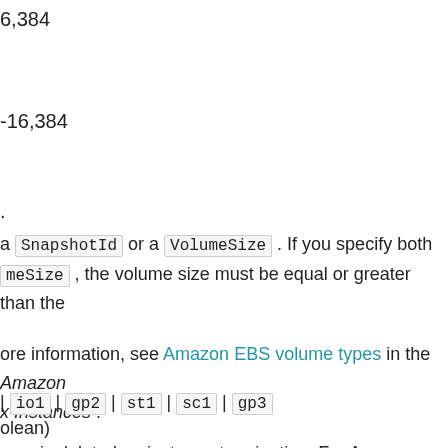6,384
-16,384
.
a SnapshotId or a VolumeSize . If you specify both meSize , the volume size must be equal or greater than the
ore information, see Amazon EBS volume types in the Amazon x Instances .
| io1 | gp2 | st1 | sc1 | gp3
olean)
ume is deleted on instance termination. For Amazon EC2 Auto